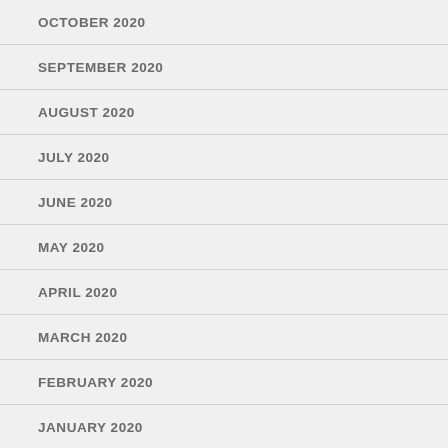OCTOBER 2020
SEPTEMBER 2020
AUGUST 2020
JULY 2020
JUNE 2020
MAY 2020
APRIL 2020
MARCH 2020
FEBRUARY 2020
JANUARY 2020